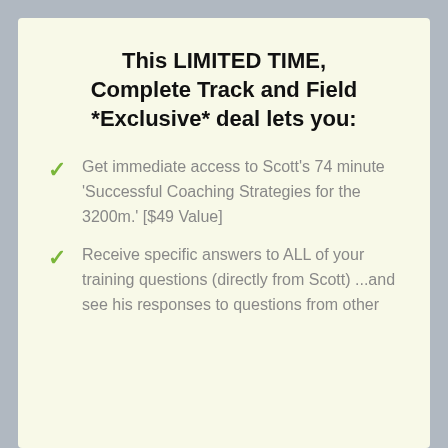This LIMITED TIME, Complete Track and Field *Exclusive* deal lets you:
Get immediate access to Scott's 74 minute 'Successful Coaching Strategies for the 3200m.' [$49 Value]
Receive specific answers to ALL of your training questions (directly from Scott) ...and see his responses to questions from other